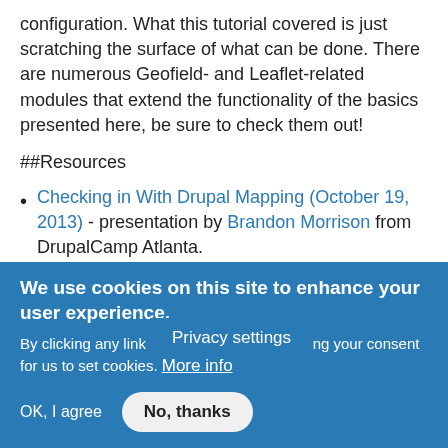configuration. What this tutorial covered is just scratching the surface of what can be done. There are numerous Geofield- and Leaflet-related modules that extend the functionality of the basics presented here, be sure to check them out!
##Resources
Checking in With Drupal Mapping (October 19, 2013) - presentation by Brandon Morrison from DrupalCamp Atlanta.
Interactive maps with Leaflet and more (April 13, 2013) - presentation by … ernig from Drupal Camp Alpe Adri…
Privacy settings
We use cookies on this site to enhance your user experience.
By clicking any link on this page you are giving your consent for us to set cookies. More info
OK, I agree
No, thanks